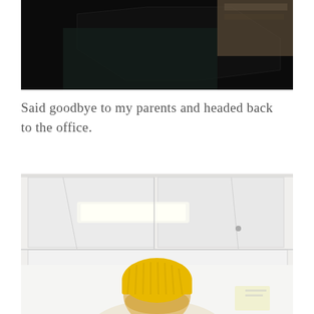[Figure (photo): Top portion of a photo, showing a dark indoor scene with a hexagonal or angular shape in the background and a wooden table surface visible.]
Said goodbye to my parents and headed back to the office.
[Figure (photo): Office interior photo showing a bright white ceiling with fluorescent strip lighting and ceiling tiles. In the lower portion, a person wearing a yellow knit beanie hat is visible from behind, with blonde hair. There are some papers or sticky notes visible in the background.]